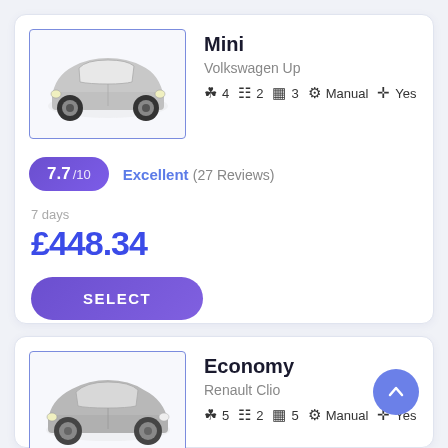Mini
Volkswagen Up
👤 4 🛏 2 🧳 3 ⚙ Manual ✛ Yes
7.7/10 Excellent (27 Reviews)
7 days
£448.34
SELECT
Economy
Renault Clio
👤 5 🛏 2 🧳 5 ⚙ Manual ✛ Yes